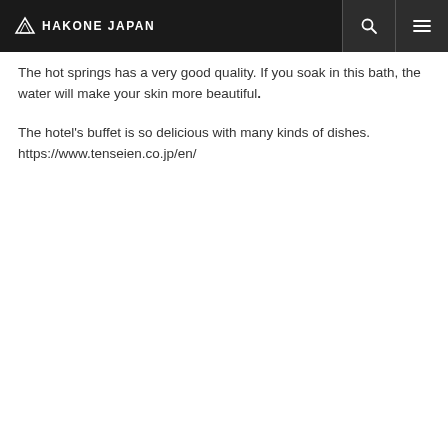HAKONE JAPAN
The hot springs has a very good quality. If you soak in this bath, the water will make your skin more beautiful.
The hotel's buffet is so delicious with many kinds of dishes. https://www.tenseien.co.jp/en/